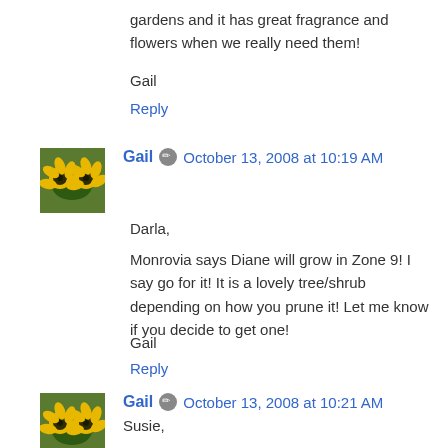gardens and it has great fragrance and flowers when we really need them!
Gail
Reply
Gail  October 13, 2008 at 10:19 AM
Darla,
Monrovia says Diane will grow in Zone 9! I say go for it! It is a lovely tree/shrub depending on how you prune it! Let me know if you decide to get one!
Gail
Reply
Gail  October 13, 2008 at 10:21 AM
Susie,